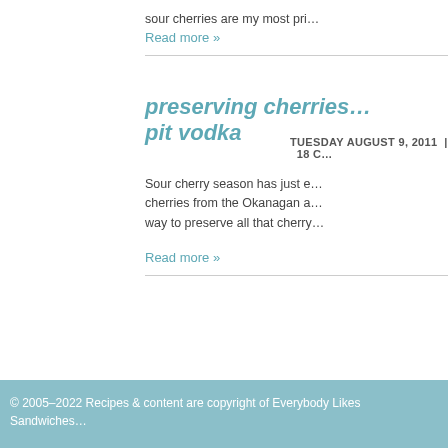sour cherries are my most pri…
Read more »
TUESDAY AUGUST 9, 2011  |  18 C…
preserving cherries… pit vodka
Sour cherry season has just e… cherries from the Okanagan a… way to preserve all that cherry…
Read more »
© 2005–2022 Recipes & content are copyright of Everybody Likes Sandwiches…